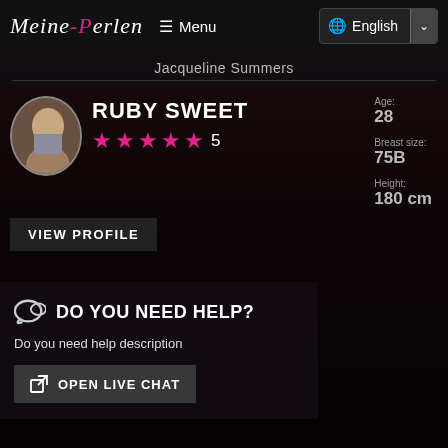Meine-Perlen  Menu  English
Jacqueline Summers
RUBY SWEET
★★★★★ 5
Age: 28
Breast size: 75B
Height: 180 cm
VIEW PROFILE
DO YOU NEED HELP?
Do you need help description
OPEN LIVE CHAT